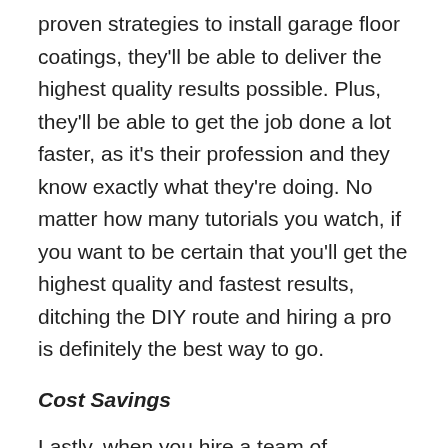proven strategies to install garage floor coatings, they'll be able to deliver the highest quality results possible. Plus, they'll be able to get the job done a lot faster, as it's their profession and they know exactly what they're doing. No matter how many tutorials you watch, if you want to be certain that you'll get the highest quality and fastest results, ditching the DIY route and hiring a pro is definitely the best way to go.
Cost Savings
Lastly, when you hire a team of professional Fairfield County epoxy garage floor installers near you, you'll save money. While it might seem like taking the DIY approach would be more cost-effective, when you calculate the cost of all of the products and supplies you'll need to purchase and add in any errors that you may make (that could end up requiring costly repairs to